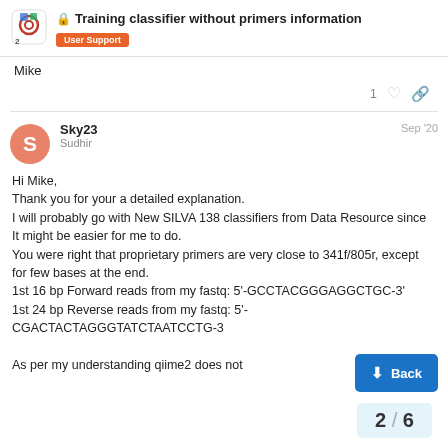Training classifier without primers information | User Support
Mike
Sky23
Sudhir
Sep '20
Hi Mike,
Thank you for your a detailed explanation.
I will probably go with New SILVA 138 classifiers from Data Resource since It might be easier for me to do.
You were right that proprietary primers are very close to 341f/805r, except for few bases at the end.
1st 16 bp Forward reads from my fastq: 5'-GCCTACGGGAGGCTGC-3'
1st 24 bp Reverse reads from my fastq: 5'-CGACTACTAGGGTATCTAATCCTG-3

As per my understanding qiime2 does not